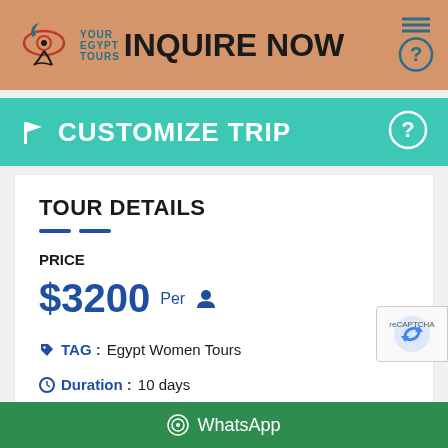INQUIRE NOW — Your Egypt Tours
🏳 CUSTOMIZE TRIP
TOUR DETAILS
PRICE
$3200 Per person
TAG : Egypt Women Tours
Duration : 10 days
WhatsApp